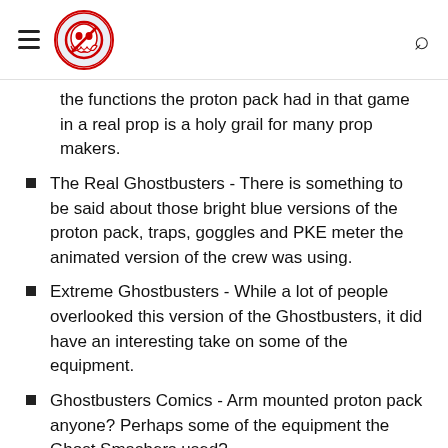Ghostbusters fan site navigation header with logo and search icon
the functions the proton pack had in that game in a real prop is a holy grail for many prop makers.
The Real Ghostbusters - There is something to be said about those bright blue versions of the proton pack, traps, goggles and PKE meter the animated version of the crew was using.
Extreme Ghostbusters - While a lot of people overlooked this version of the Ghostbusters, it did have an interesting take on some of the equipment.
Ghostbusters Comics - Arm mounted proton pack anyone? Perhaps some of the equipment the Ghost Smashers used?
Original equipment - Steampunk Ghostbusters.